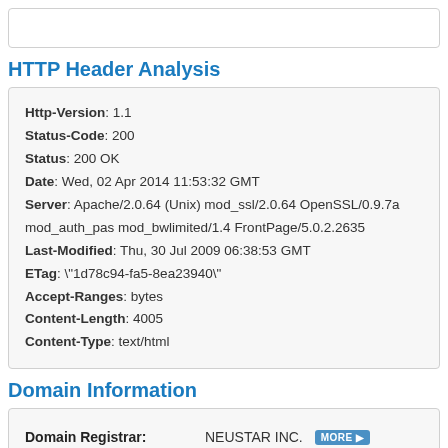HTTP Header Analysis
Http-Version: 1.1
Status-Code: 200
Status: 200 OK
Date: Wed, 02 Apr 2014 11:53:32 GMT
Server: Apache/2.0.64 (Unix) mod_ssl/2.0.64 OpenSSL/0.9.7a mod_auth_pas mod_bwlimited/1.4 FrontPage/5.0.2.2635
Last-Modified: Thu, 30 Jul 2009 06:38:53 GMT
ETag: "1d78c94-fa5-8ea23940"
Accept-Ranges: bytes
Content-Length: 4005
Content-Type: text/html
Domain Information
| Field | Value |
| --- | --- |
| Domain Registrar: | NEUSTAR INC. MORE |
| Registration Date: | 2006-04-05   1 decade 6 years 4 mo |